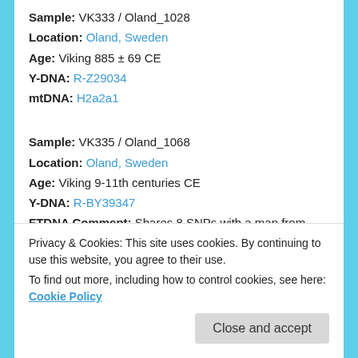Sample: VK333 / Oland_1028
Location: Oland, Sweden
Age: Viking 885 ± 69 CE
Y-DNA: R-Z29034
mtDNA: H2a2a1
Sample: VK335 / Oland_1068
Location: Oland, Sweden
Age: Viking 9-11th centuries CE
Y-DNA: R-BY39347
FTDNA Comment: Shares 8 SNPs with a man from France. Forms a new branch down of R-BY39347 (U152). New branch = R-FT304388
mtDNA: K1b2a3
Privacy & Cookies: This site uses cookies. By continuing to use this website, you agree to their use.
To find out more, including how to control cookies, see here: Cookie Policy